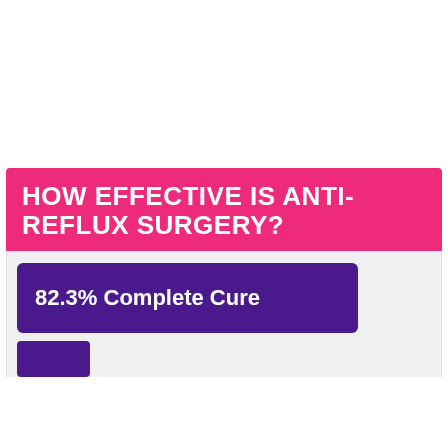[Figure (bar-chart): HOW EFFECTIVE IS ANTI-REFLUX SURGERY?]